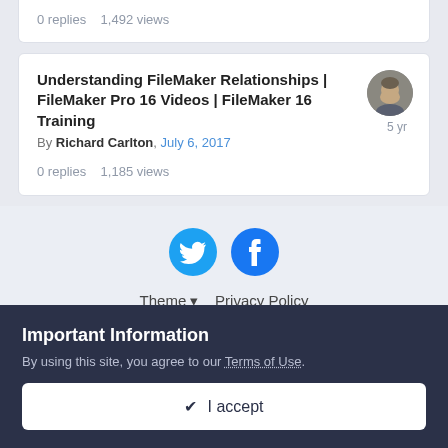0 replies   1,492 views
Understanding FileMaker Relationships | FileMaker Pro 16 Videos | FileMaker 16 Training
By Richard Carlton, July 6, 2017
0 replies   1,185 views
[Figure (logo): Twitter and Facebook social media icon circles]
Theme ▾   Privacy Policy
© Ocean West, Inc.
Important Information
By using this site, you agree to our Terms of Use.
✔ I accept